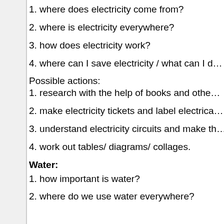1. where does electricity come from?
2. where is electricity everywhere?
3. how does electricity work?
4. where can I save electricity / what can I d…
Possible actions:
1. research with the help of books and othe…
2. make electricity tickets and label electrica…
3. understand electricity circuits and make th…
4. work out tables/ diagrams/ collages.
Water:
1. how important is water?
2. where do we use water everywhere?